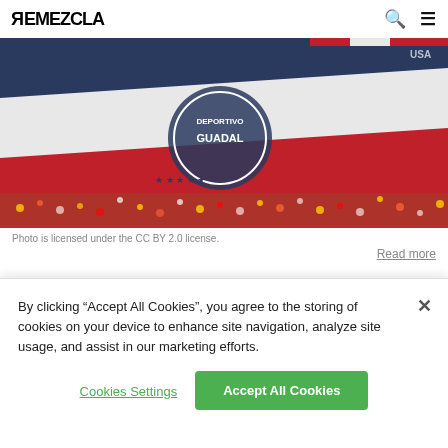REMEZCLA
[Figure (photo): Large flag with Chivas Guadalajara logo being waved over a crowd of fans in a stadium]
Photo is licensed under the CC BY 2.0 license.
Read more
In the aftermath of the 8.1 earthquake that hit southern Mexico over the weekend, tales of heroism and community have filtered out through social media. From
By clicking “Accept All Cookies”, you agree to the storing of cookies on your device to enhance site navigation, analyze site usage, and assist in our marketing efforts.
Cookies Settings
Accept All Cookies